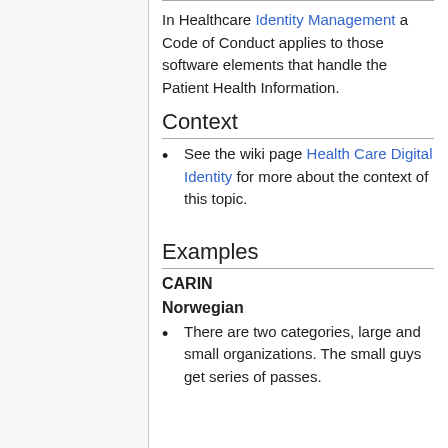In Healthcare Identity Management a Code of Conduct applies to those software elements that handle the Patient Health Information.
Context
See the wiki page Health Care Digital Identity for more about the context of this topic.
Examples
CARIN
Norwegian
There are two categories, large and small organizations. The small guys get series of passes.